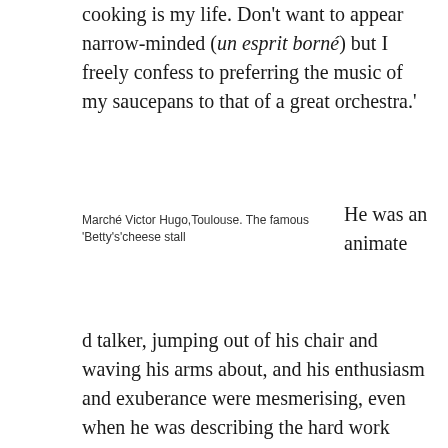cooking is my life. Don't want to appear narrow-minded (un esprit borné) but I freely confess to preferring the music of my saucepans to that of a great orchestra.'
Marché Victor Hugo,Toulouse. The famous 'Betty's'cheese stall
He was an animated talker, jumping out of his chair and waving his arms about, and his enthusiasm and exuberance were mesmerising, even when he was describing the hard work demanded by his metier.  For himself and his team of three apprentices, the day started early and finished late, with a short break in the afternoon. He was up each morning at 4h 30 to visit the famous Marché Victor Hugo, prowling round the stalls, checking out the produce, mentally working out his menus before placing his orders. The true spirit of 'la cuisine du marché' – first select your ingredients, fresh